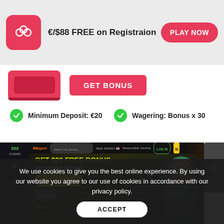[Figure (screenshot): Top banner with red logo box (slot machine icon), text '€/$88 FREE on Registraion', and red 'PLAY NOW' button on grey background]
[Figure (screenshot): Middle section showing red card graphic and red 'GET BONUS' button]
Minimum Deposit: €20
Wagering: Bonus x 30
[Figure (screenshot): 888 Casino website screenshot showing 'GET $20 FREE BONUS NO DEPOSIT NEEDED' promotion with SIGN UP & PLAY button, LOG IN button, and animated casino character]
We use cookies to give you the best online experience. By using our website you agree to our use of cookies in accordance with our privacy policy.
ACCEPT